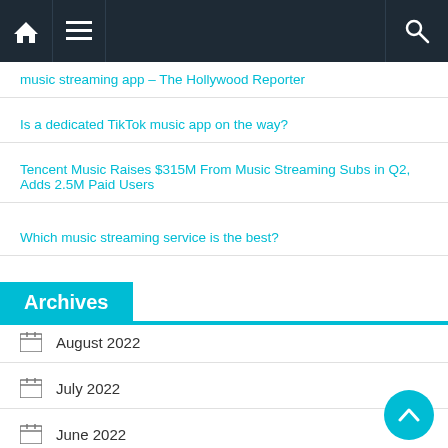Navigation bar with home, menu, and search icons
music streaming app – The Hollywood Reporter
Is a dedicated TikTok music app on the way?
Tencent Music Raises $315M From Music Streaming Subs in Q2, Adds 2.5M Paid Users
Which music streaming service is the best?
Archives
August 2022
July 2022
June 2022